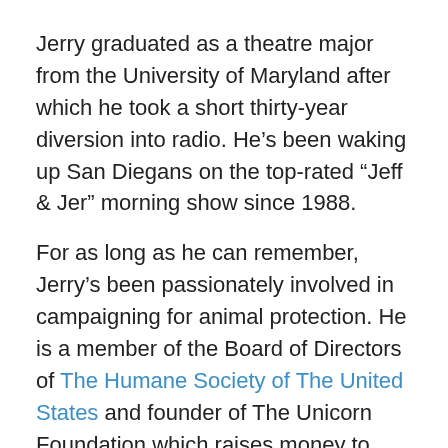Jerry graduated as a theatre major from the University of Maryland after which he took a short thirty-year diversion into radio. He’s been waking up San Diegans on the top-rated “Jeff & Jer” morning show since 1988.
For as long as he can remember, Jerry’s been passionately involved in campaigning for animal protection. He is a member of the Board of Directors of The Humane Society of The United States and founder of The Unicorn Foundation which raises money to fight animal cruelty.
Jerry is a produced playwright and author of dozens of short stories and screenplays.
He and his wife Pam live in La Jolla, California in a house owned by six cats.